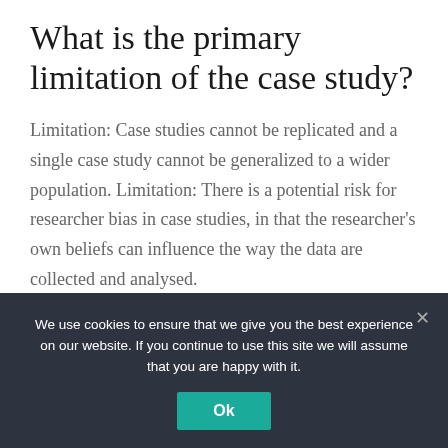What is the primary limitation of the case study?
Limitation: Case studies cannot be replicated and a single case study cannot be generalized to a wider population. Limitation: There is a potential risk for researcher bias in case studies, in that the researcher's own beliefs can influence the way the data are collected and analysed.
It The t i t d
We use cookies to ensure that we give you the best experience on our website. If you continue to use this site we will assume that you are happy with it.